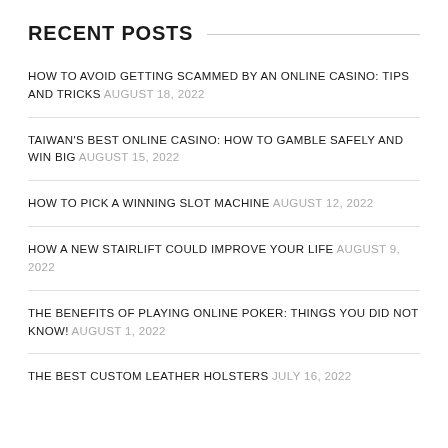RECENT POSTS
HOW TO AVOID GETTING SCAMMED BY AN ONLINE CASINO: TIPS AND TRICKS AUGUST 18, 2022
TAIWAN'S BEST ONLINE CASINO: HOW TO GAMBLE SAFELY AND WIN BIG AUGUST 15, 2022
HOW TO PICK A WINNING SLOT MACHINE AUGUST 12, 2022
HOW A NEW STAIRLIFT COULD IMPROVE YOUR LIFE AUGUST 9, 2022
THE BENEFITS OF PLAYING ONLINE POKER: THINGS YOU DID NOT KNOW! AUGUST 1, 2022
THE BEST CUSTOM LEATHER HOLSTERS JULY 16, 2022